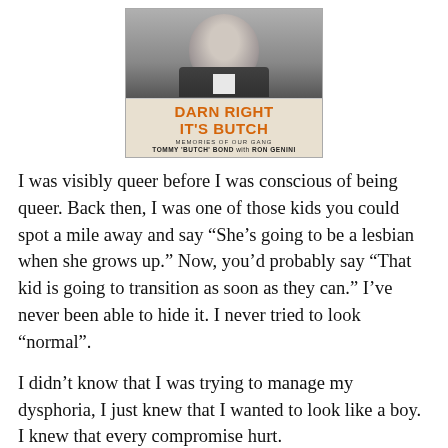[Figure (photo): Book cover of 'Darn Right It's Butch: Memories of Our Gang' by Tommy 'Butch' Bond with Ron Genini. Black and white photo of a young boy on cover with orange bold title text.]
I was visibly queer before I was conscious of being queer. Back then, I was one of those kids you could spot a mile away and say “She’s going to be a lesbian when she grows up.” Now, you’d probably say “That kid is going to transition as soon as they can.” I’ve never been able to hide it. I never tried to look “normal”.
I didn’t know that I was trying to manage my dysphoria, I just knew that I wanted to look like a boy. I knew that every compromise hurt.